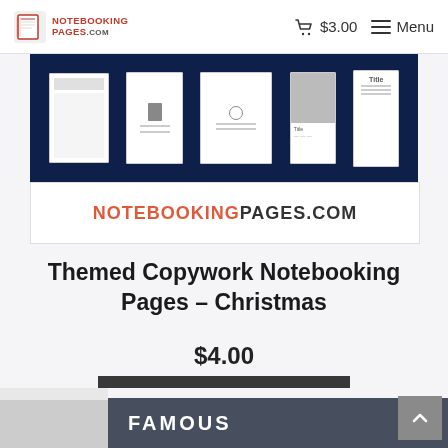NOTEBOOKING PAGES.COM | $3.00 | Menu
[Figure (screenshot): Product image showing notebooking pages spread out on dark navy background, with NOTEBOOKINGPAGES.COM branding below in white/orange text]
Themed Copywork Notebooking Pages – Christmas
$4.00
ADD TO CART
[Figure (screenshot): Bottom strip showing partially visible next product card with dark overlay and FAMOUS text]